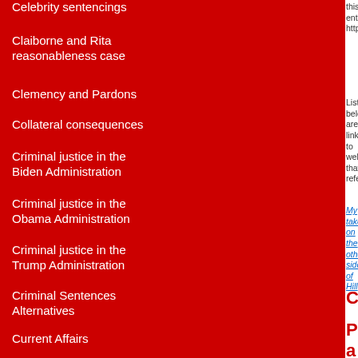Celebrity sentencings
Claiborne and Rita reasonableness case
Clemency and Pardons
Collateral consequences
Criminal justice in the Biden Administration
Criminal justice in the Obama Administration
Criminal justice in the Trump Administration
Criminal Sentences Alternatives
Current Affairs
Data on sentencing
Death Penalty Reforms
Detailed sentencing data
Drug Offense Sentencing
Elections and sentencing issues in political debates
this entry https
Listed below are links to weblogs that refer
My take on the other side of Hill:
Co
Po a co